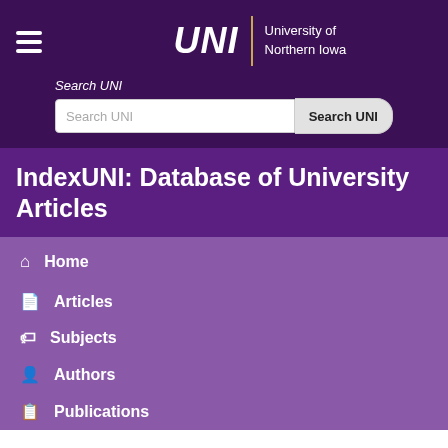UNI University of Northern Iowa
IndexUNI: Database of University Articles
Home
Articles
Subjects
Authors
Publications
Jones--Genevieve (Class of 1916)